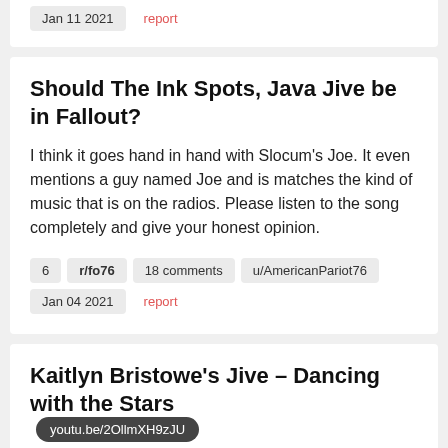Jan 11 2021   report
Should The Ink Spots, Java Jive be in Fallout?
I think it goes hand in hand with Slocum's Joe. It even mentions a guy named Joe and is matches the kind of music that is on the radios. Please listen to the song completely and give your honest opinion.
6   r/fo76   18 comments   u/AmericanPariot76
Jan 04 2021   report
Kaitlyn Bristowe's Jive – Dancing with the Stars youtu.be/2OllmXH9zJU
138   r/thebachelor   108 comments   u/cxx510